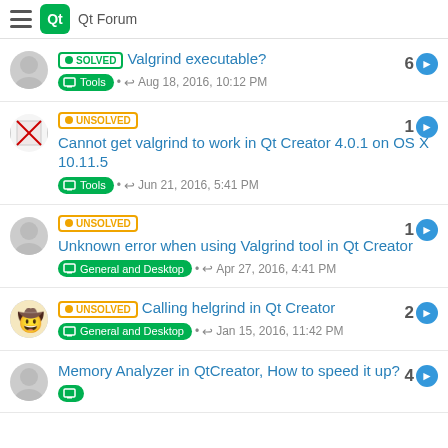Qt Forum
SOLVED Valgrind executable? 6 Tools • Aug 18, 2016, 10:12 PM
UNSOLVED Cannot get valgrind to work in Qt Creator 4.0.1 on OS X 10.11.5 1 Tools • Jun 21, 2016, 5:41 PM
UNSOLVED Unknown error when using Valgrind tool in Qt Creator 1 General and Desktop • Apr 27, 2016, 4:41 PM
UNSOLVED Calling helgrind in Qt Creator 2 General and Desktop • Jan 15, 2016, 11:42 PM
Memory Analyzer in QtCreator, How to speed it up? 4